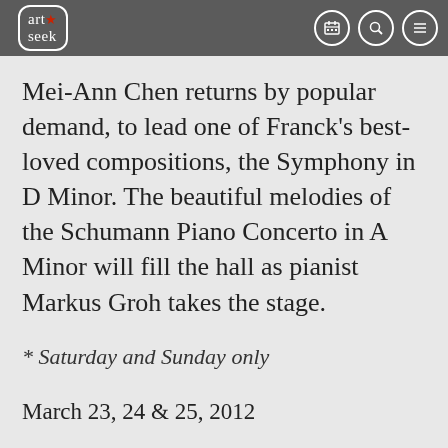art seek [logo with nav icons]
Mei-Ann Chen returns by popular demand, to lead one of Franck's best-loved compositions, the Symphony in D Minor. The beautiful melodies of the Schumann Piano Concerto in A Minor will fill the hall as pianist Markus Groh takes the stage.
* Saturday and Sunday only
March 23, 24 & 25, 2012
THE FIREBIRD
Miguel Harth-Bedoya, Conductor